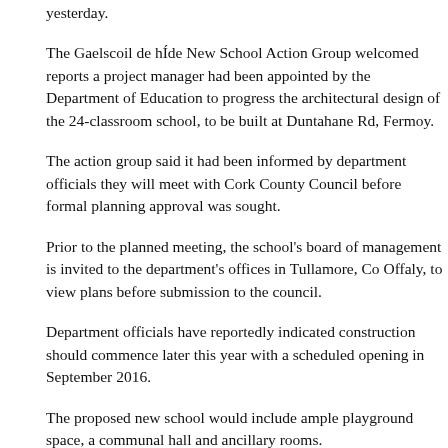yesterday.
The Gaelscoil de hÍde New School Action Group welcomed reports a project manager had been appointed by the Department of Education to progress the architectural design of the 24-classroom school, to be built at Duntahane Rd, Fermoy.
The action group said it had been informed by department officials they will meet with Cork County Council before formal planning approval was sought.
Prior to the planned meeting, the school's board of management is invited to the department's offices in Tullamore, Co Offaly, to view plans before submission to the council.
Department officials have reportedly indicated construction should commence later this year with a scheduled opening in September 2016.
The proposed new school would include ample playground space, a communal hall and ancillary rooms.
“Once a formal planning application is lodged, the action group is hoping our locally elected councillors can monitor the process and assist with any potential delays,” spokeswoman Vivienne Dempsey said.
Currently, 410 pupils occupy a cramped former vocational school on MacCurtain St in the centre of the town. The original school was designed to cater for half that number.